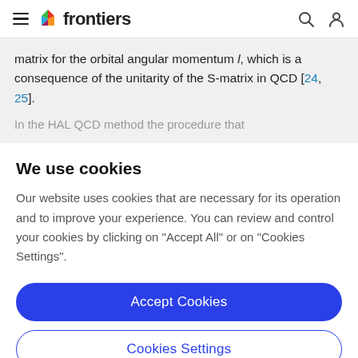frontiers
matrix for the orbital angular momentum l, which is a consequence of the unitarity of the S-matrix in QCD [24, 25].
In the HAL QCD method the procedure that...
We use cookies
Our website uses cookies that are necessary for its operation and to improve your experience. You can review and control your cookies by clicking on "Accept All" or on "Cookies Settings".
Accept Cookies
Cookies Settings